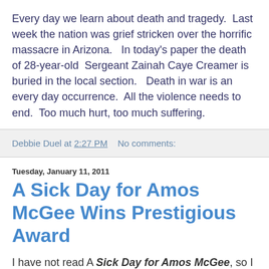Every day we learn about death and tragedy.  Last week the nation was grief stricken over the horrific massacre in Arizona.   In today's paper the death of 28-year-old  Sergeant Zainah Caye Creamer is buried in the local section.   Death in war is an every day occurrence.  All the violence needs to end.  Too much hurt, too much suffering.
Debbie Duel at 2:27 PM   No comments:
Tuesday, January 11, 2011
A Sick Day for Amos McGee Wins Prestigious Award
I have not read A Sick Day for Amos McGee, so I am not in a position to criticize.   But I will --  sort of.  This book, illustrated by Erin E. Stead and written by her husband Philip C. Stead, won the Caldecott Award for 2011 -- that puts it in the same company as Officer Buckle and Gloria, one of my very favorite picture books.    I am opposed to books depicting zoos as happy-go-lucky places.  Even whimsical